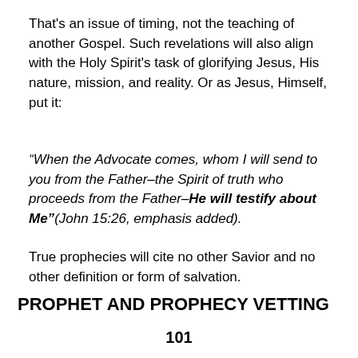That's an issue of timing, not the teaching of another Gospel. Such revelations will also align with the Holy Spirit's task of glorifying Jesus, His nature, mission, and reality. Or as Jesus, Himself, put it:
“When the Advocate comes, whom I will send to you from the Father–the Spirit of truth who proceeds from the Father–He will testify about Me”(John 15:26, emphasis added).
True prophecies will cite no other Savior and no other definition or form of salvation.
PROPHET AND PROPHECY VETTING
101